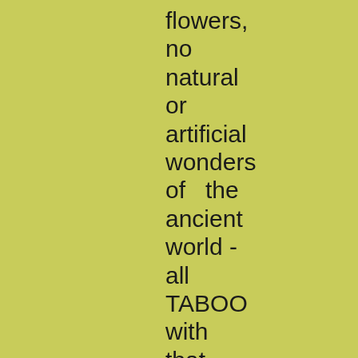flowers,
no
natural
or
artificial
wonders
of   the
ancient
world -
all
TABOO
with
that
enlightened
strictness,
that
the
ugly
South